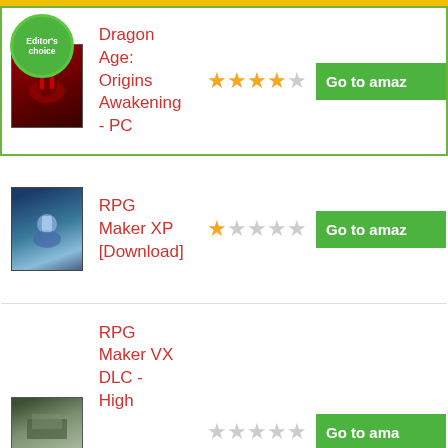| Image | Product Name | Rating | Link |
| --- | --- | --- | --- |
| [Editor's choice badge + product image] | Dragon Age: Origins Awakening - PC | ★★★★☆ | Go to amaz... |
| [Product image] | RPG Maker XP [Download] | ★☆☆☆☆ | Go to amaz... |
| [Product image] | RPG Maker VX DLC - High | ☆☆☆☆☆ | Go to ama... |